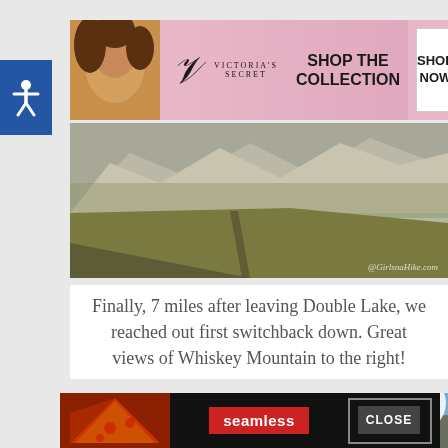[Figure (screenshot): Victoria's Secret advertisement banner with model, logo, 'SHOP THE COLLECTION' text, and 'SHOP NOW' button]
[Figure (photo): Mountain landscape photo showing rocky cliffs, grassy hillside with a trail, watermark '@GirlsnaHike.com']
Finally, 7 miles after leaving Double Lake, we reached out first switchback down. Great views of Whiskey Mountain to the right!
[Figure (photo): Partial landscape photo showing blue sky and mountains, with a 'CLOSE' button overlay and a Seamless food delivery advertisement at the bottom]